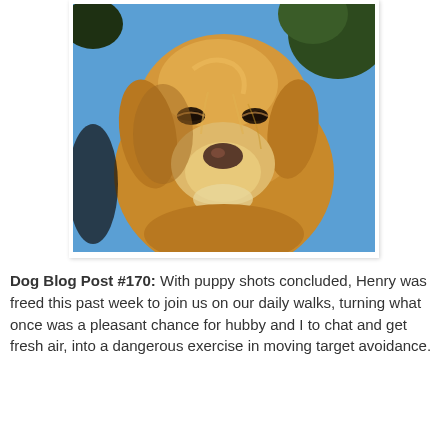[Figure (photo): Close-up photograph of a golden retriever dog looking downward, with golden fur, floppy ears, and a dark nose, against a background of blue sky and dark foliage.]
Dog Blog Post #170: With puppy shots concluded, Henry was freed this past week to join us on our daily walks, turning what once was a pleasant chance for hubby and I to chat and get fresh air, into a dangerous exercise in moving target avoidance.